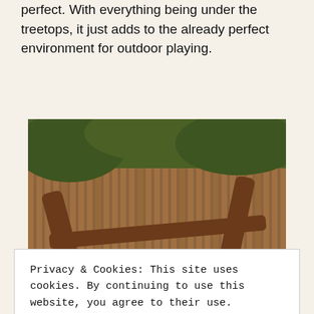perfect. With everything being under the treetops, it just adds to the already perfect environment for outdoor playing.
[Figure (photo): Outdoor wooden playground with a brown sign reading 'This area is for Twiggles and Boggles with disabilities. ...it can be enjoyed by all!']
Privacy & Cookies: This site uses cookies. By continuing to use this website, you agree to their use. To find out more, including how to control cookies, see here: Cookie Policy
Close and accept
What's brilliant about BeWILDerwood is that the